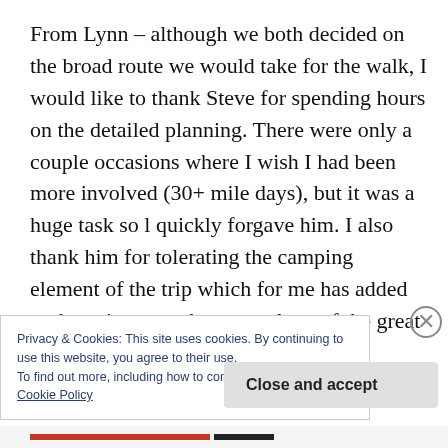From Lynn – although we both decided on the broad route we would take for the walk, I would like to thank Steve for spending hours on the detailed planning. There were only a couple occasions where I wish I had been more involved (30+ mile days), but it was a huge task so I quickly forgave him. I also thank him for tolerating the camping element of the trip which for me has added to the enjoyment due to my love of the great outdoors. How lucky to
Privacy & Cookies: This site uses cookies. By continuing to use this website, you agree to their use.
To find out more, including how to control cookies, see here:
Cookie Policy
Close and accept